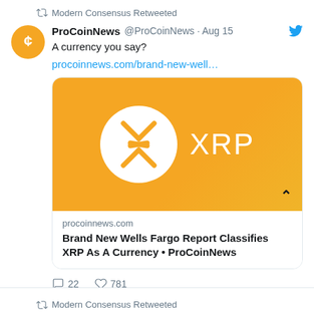Modern Consensus Retweeted
ProCoinNews @ProCoinNews · Aug 15
A currency you say?
procoinnews.com/brand-new-well…
[Figure (illustration): XRP cryptocurrency logo on a yellow/gold gradient background card preview with white circular XRP icon and 'XRP' text, plus article metadata: procoinnews.com — Brand New Wells Fargo Report Classifies XRP As A Currency • ProCoinNews]
22 comments · 781 likes